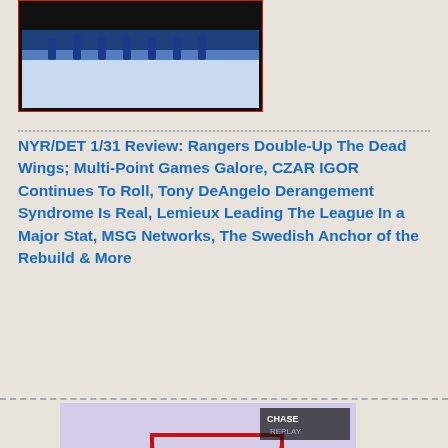[Figure (photo): Hockey team on ice rink, blue uniforms, dark background frame]
NYR/DET 1/31 Review: Rangers Double-Up The Dead Wings; Multi-Point Games Galore, CZAR IGOR Continues To Roll, Tony DeAngelo Derangement Syndrome Is Real, Lemieux Leading The League In a Major Stat, MSG Networks, The Swedish Anchor of the Rebuild & More
[Figure (photo): NHL hockey goalie in blue Rangers uniform making a save, Chase Replay overlay, Spectrum advertisement visible, ice rink setting]